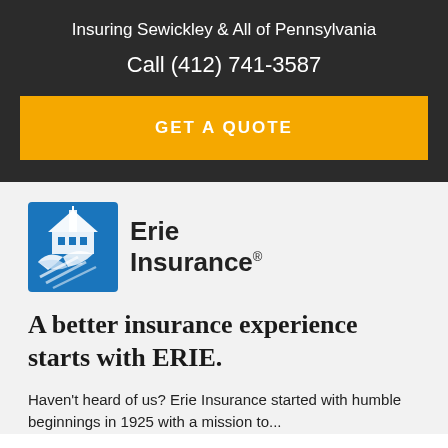Insuring Sewickley & All of Pennsylvania
Call (412) 741-3587
GET A QUOTE
[Figure (logo): Erie Insurance logo: blue square with white house/building icon and stylized bird, next to bold text 'Erie Insurance' with registered trademark symbol]
A better insurance experience starts with ERIE.
Haven't heard of us? Erie Insurance started with humble beginnings in 1925 with a mission to...